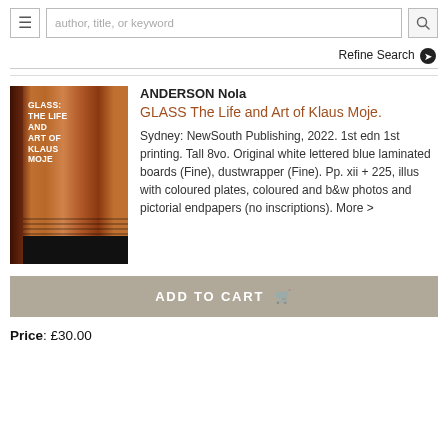author, title, or keyword
Refine Search
[Figure (photo): Book cover of GLASS: The Life and Art of Klaus Moje, with orange/brown wood-grain texture and white lettered text on spine]
ANDERSON Nola
GLASS The Life and Art of Klaus Moje.
Sydney: NewSouth Publishing, 2022. 1st edn 1st printing. Tall 8vo. Original white lettered blue laminated boards (Fine), dustwrapper (Fine). Pp. xii + 225, illus with coloured plates, coloured and b&w photos and pictorial endpapers (no inscriptions). More >
ADD TO CART
Price: £30.00